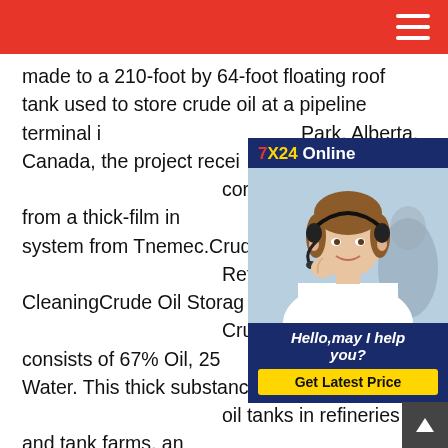made to a 210-foot by 64-foot floating roof tank used to store crude oil at a pipeline terminal in Park, Alberta, Canada, the project received corrosion protection from a thick-film intumescent system from Tnemec.Crude Oil Storage Tank Refinery Tank CleaningCrude Oil Storage Tank. Crude oil sludge consists of 67% Oil, 25% Water. This thick substance collects at the oil tanks in refineries and tank farms, and creates issues, including discharge line blockages and reduced storage capacity.Crude Oil Storage Tank Cleaning. Tank Farm Curacao by oil crude double storage tankMay 14, 2019Tank Cleaning. During the long storage process of oil tank, mechanical impurities, sand, asphalt, as well as other heavy oil component contained in the oil
[Figure (photo): Customer service representative wearing a headset, smiling, with '7X24 Online' header and 'Hello, may I help you?' message and 'Get Latest Price' button]